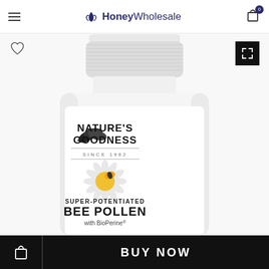HoneyWholesale
[Figure (photo): White plastic supplement bottle labeled 'Nature's Goodness Since 1982 Super-Potentiated Bee Pollen with BioPerine' with a bee on a daisy flower image on the label]
BUY NOW